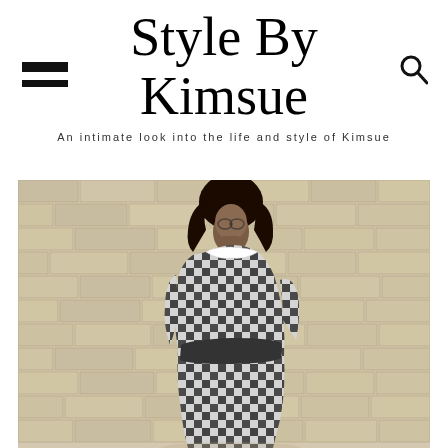Style By Kimsue
An intimate look into the life and style of Kimsue
[Figure (photo): Woman wearing a black and white gingham/checkered dress with a belt, standing in front of a brick wall, looking over her shoulder]